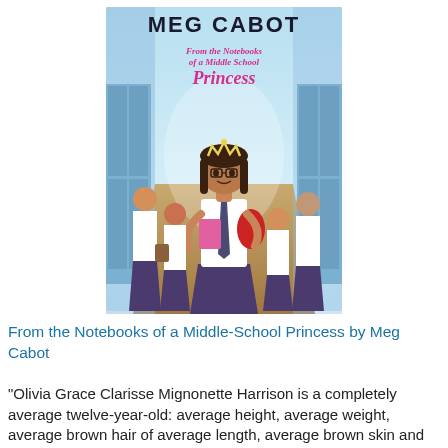[Figure (illustration): Book cover of 'From the Notebooks of a Middle School Princess' by Meg Cabot. Shows a girl wearing a tiara, glasses, school uniform with a plaid skirt, holding a pink binder and wearing a red backpack, standing in a school hallway with lockers. Other students in uniforms surround her. Title text in pink and magenta at the top reads 'MEG CABOT From the Notebooks of a Middle School Princess'. Light blue background.]
From the Notebooks of a Middle-School Princess by Meg Cabot
"Olivia Grace Clarisse Mignonette Harrison is a completely average twelve-year-old: average height, average weight, average brown hair of average length, average brown skin and average hazel eyes. The only things about her that aren't average are her name (too long and princess themed),